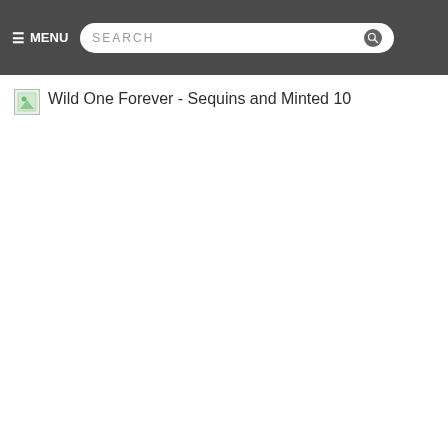☰ MENU  SEARCH
Wild One Forever - Sequins and Minted 10